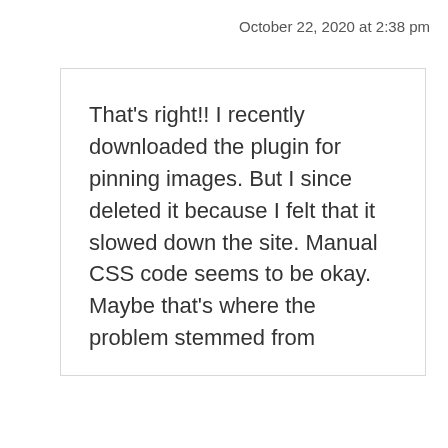October 22, 2020 at 2:38 pm
That's right!! I recently downloaded the plugin for pinning images. But I since deleted it because I felt that it slowed down the site. Manual CSS code seems to be okay. Maybe that's where the problem stemmed from